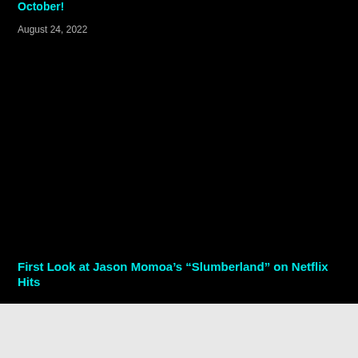October!
August 24, 2022
[Figure (photo): Dark/black image area, content not visible]
First Look at Jason Momoa’s “Slumberland” on Netflix Hits